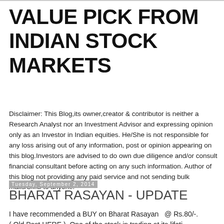VALUE PICK FROM INDIAN STOCK MARKETS
Disclaimer: This Blog,its owner,creator & contributor is neither a Research Analyst nor an Investment Advisor and expressing opinion only as an Investor in Indian equities. He/She is not responsible for any loss arising out of any information, post or opinion appearing on this blog.Investors are advised to do own due diligence and/or consult financial consultant before acting on any such information. Author of this blog not providing any paid service and not sending bulk mails/SMS to anyone.
Tuesday, September 2, 2014
BHARAT RASAYAN - UPDATE
I have recommended a BUY on Bharat Rasayan  @ Rs.80/-. ( Old Post HERE ). One of the stock in trading at its lifetime